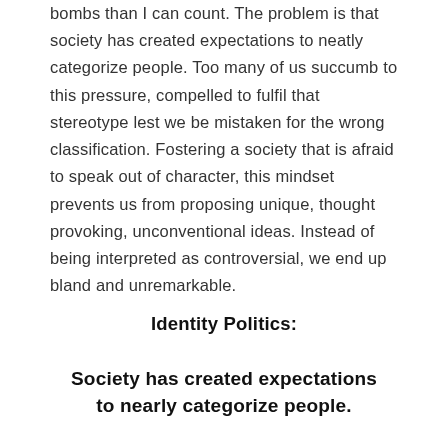bombs than I can count. The problem is that society has created expectations to neatly categorize people. Too many of us succumb to this pressure, compelled to fulfil that stereotype lest we be mistaken for the wrong classification. Fostering a society that is afraid to speak out of character, this mindset prevents us from proposing unique, thought provoking, unconventional ideas. Instead of being interpreted as controversial, we end up bland and unremarkable.
Identity Politics:
Society has created expectations to nearly categorize people.